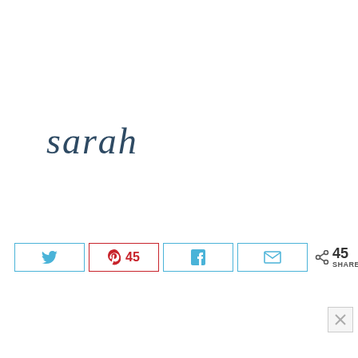[Figure (illustration): Handwritten-style script signature reading 'sarah' in dark teal/navy color]
[Figure (infographic): Social share bar with Twitter button, Pinterest button showing 45 count, Facebook button, Email button, and share icon with 45 SHARES total]
[Figure (other): Close/dismiss button (X) in bottom right corner]